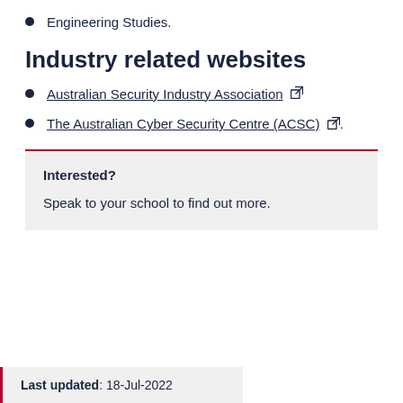Engineering Studies.
Industry related websites
Australian Security Industry Association ↗
The Australian Cyber Security Centre (ACSC) ↗.
Interested?
Speak to your school to find out more.
Last updated: 18-Jul-2022